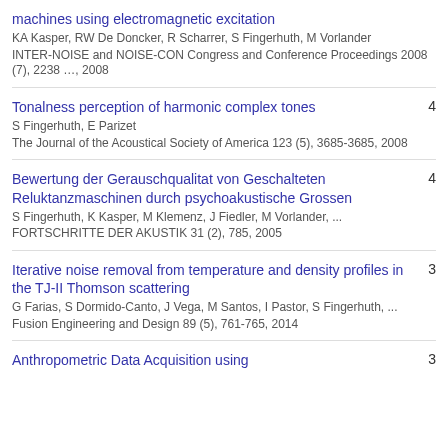machines using electromagnetic excitation
KA Kasper, RW De Doncker, R Scharrer, S Fingerhuth, M Vorlander
INTER-NOISE and NOISE-CON Congress and Conference Proceedings 2008 (7), 2238 …, 2008
Tonalness perception of harmonic complex tones
S Fingerhuth, E Parizet
The Journal of the Acoustical Society of America 123 (5), 3685-3685, 2008
Citations: 4
Bewertung der Gerauschqualitat von Geschalteten Reluktanzmaschinen durch psychoakustische Grossen
S Fingerhuth, K Kasper, M Klemenz, J Fiedler, M Vorlander, ...
FORTSCHRITTE DER AKUSTIK 31 (2), 785, 2005
Citations: 4
Iterative noise removal from temperature and density profiles in the TJ-II Thomson scattering
G Farias, S Dormido-Canto, J Vega, M Santos, I Pastor, S Fingerhuth, ...
Fusion Engineering and Design 89 (5), 761-765, 2014
Citations: 3
Anthropometric Data Acquisition using
Citations: 3